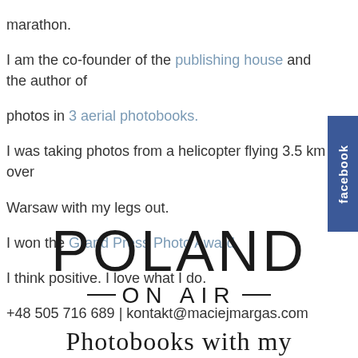marathon.
I am the co-founder of the publishing house and the author of photos in 3 aerial photobooks.
I was taking photos from a helicopter flying 3.5 km over Warsaw with my legs out.
I won the Grand Press Photo Award.
I think positive. I love what I do.
+48 505 716 689 | kontakt@maciejmargas.com
[Figure (logo): POLAND ON AIR logo with large thin-weight POLAND text and ON AIR tagline with decorative dashes]
Photobooks with my